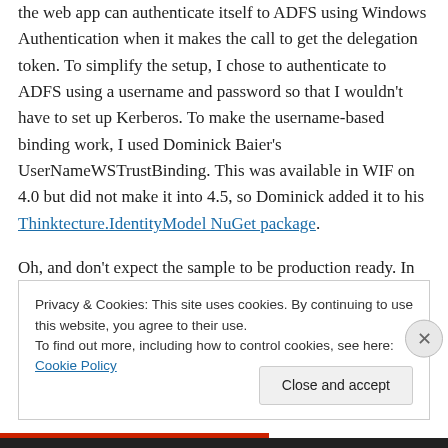the web app can authenticate itself to ADFS using Windows Authentication when it makes the call to get the delegation token. To simplify the setup, I chose to authenticate to ADFS using a username and password so that I wouldn't have to set up Kerberos. To make the username-based binding work, I used Dominick Baier's UserNameWSTrustBinding. This was available in WIF on 4.0 but did not make it into 4.5, so Dominick added it to his Thinktecture.IdentityModel NuGet package.
Oh, and don't expect the sample to be production ready. In fact, it won't even work out of the box when you run it. You
Privacy & Cookies: This site uses cookies. By continuing to use this website, you agree to their use.
To find out more, including how to control cookies, see here: Cookie Policy